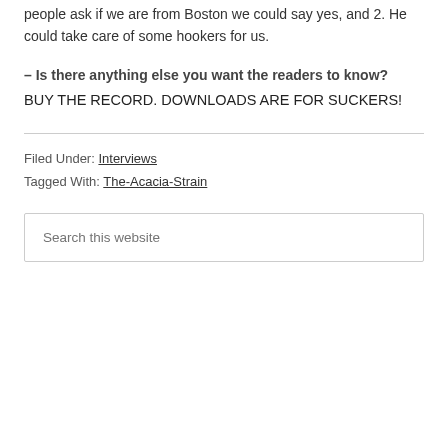people ask if we are from Boston we could say yes, and 2. He could take care of some hookers for us.
– Is there anything else you want the readers to know?
BUY THE RECORD. DOWNLOADS ARE FOR SUCKERS!
Filed Under: Interviews
Tagged With: The-Acacia-Strain
Search this website